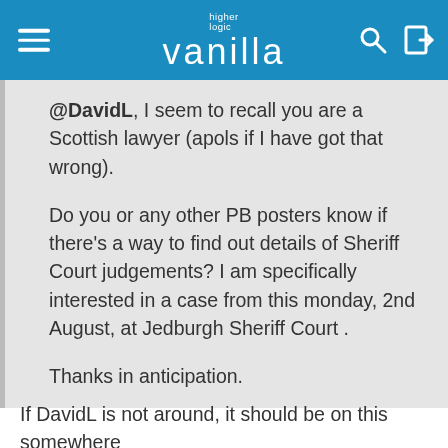higher logic vanilla
@DavidL, I seem to recall you are a Scottish lawyer (apols if I have got that wrong).

Do you or any other PB posters know if there's a way to find out details of Sheriff Court judgements? I am specifically interested in a case from this monday, 2nd August, at Jedburgh Sheriff Court .

Thanks in anticipation.
If DavidL is not around, it should be on this somewhere
https://www.scotcourts.gov.uk/
Written judgements, if they are provided at all, seem to